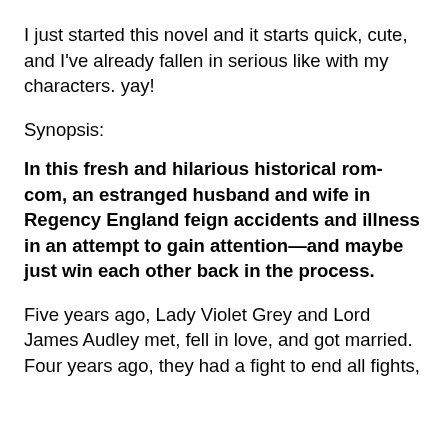I just started this novel and it starts quick, cute, and I've already fallen in serious like with my characters. yay!
Synopsis:
In this fresh and hilarious historical rom-com, an estranged husband and wife in Regency England feign accidents and illness in an attempt to gain attention—and maybe just win each other back in the process.
Five years ago, Lady Violet Grey and Lord James Audley met, fell in love, and got married. Four years ago, they had a fight to end all fights,